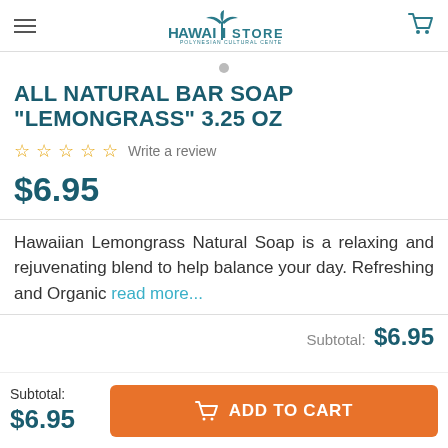Hawaii Store - Polynesian Cultural Center
ALL NATURAL BAR SOAP "LEMONGRASS" 3.25 OZ
☆☆☆☆☆ Write a review
$6.95
Hawaiian Lemongrass Natural Soap is a relaxing and rejuvenating blend to help balance your day. Refreshing and Organic read more...
Subtotal: $6.95
ADD TO CART